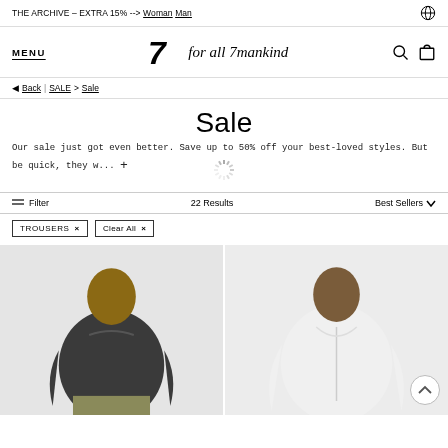THE ARCHIVE – EXTRA 15% --> Woman Man
MENU | for all 7 mankind | [search] [bag]
◄ Back | SALE > Sale
Sale
Our sale just got even better. Save up to 50% off your best-loved styles. But be quick, they w... +
≡ Filter    22 Results    Best Sellers ∨
TROUSERS ×    Clear All ×
[Figure (photo): Two male models: left model wearing dark grey t-shirt, right model wearing white zip-up hoodie on light grey background]